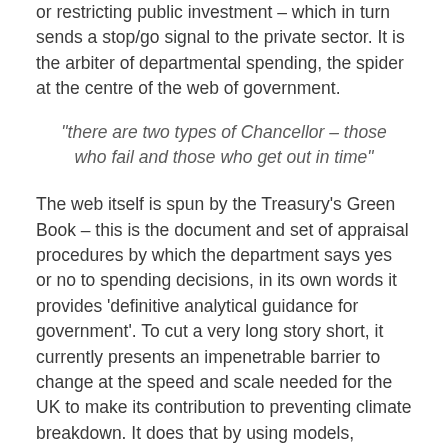or restricting public investment – which in turn sends a stop/go signal to the private sector. It is the arbiter of departmental spending, the spider at the centre of the web of government.
"there are two types of Chancellor – those who fail and those who get out in time"
The web itself is spun by the Treasury's Green Book – this is the document and set of appraisal procedures by which the department says yes or no to spending decisions, in its own words it provides 'definitive analytical guidance for government'. To cut a very long story short, it currently presents an impenetrable barrier to change at the speed and scale needed for the UK to make its contribution to preventing climate breakdown. It does that by using models, market prices and assumptions that favour short-termism and business as usual over necessary economic transformation and fail to understand either climate risk or the economic